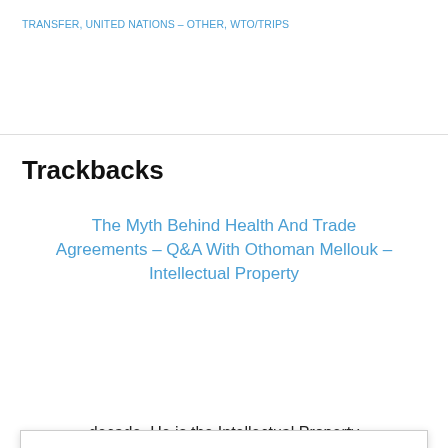TRANSFER, UNITED NATIONS - OTHER, WTO/TRIPS
Trackbacks
The Myth Behind Health And Trade Agreements - Q&A With Othoman Mellouk - Intellectual Property
This site uses cookies to help give you the best experience on our website. Cookies enable us to collect information that helps us personalise your experience and improve the functionality and performance of our site. By continuing to read our website, we assume you agree to this, otherwise you can adjust your browser settings. Please read our cookie and Privacy Policy. Our Cookies and Privacy Policy
decade. He is the Intellectual Property